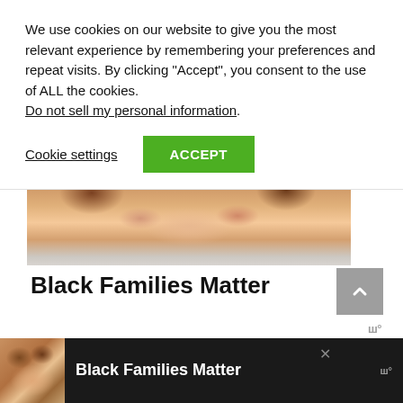We use cookies on our website to give you the most relevant experience by remembering your preferences and repeat visits. By clicking “Accept”, you consent to the use of ALL the cookies. Do not sell my personal information.
Cookie settings
ACCEPT
[Figure (photo): Photo of hands, part of a Black Families Matter advertisement.]
Black Families Matter
Ergo: Duncans Mills.
[Figure (photo): Bottom advertisement bar showing Black Families Matter with photo of smiling family.]
Black Families Matter